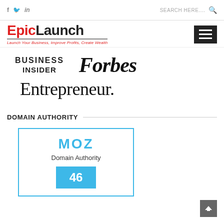f  in  |  SEARCH HERE....
[Figure (logo): EpicLaunch logo with tagline: Launch Your Business, Improve Profits, Create Wealth]
[Figure (logo): Business Insider logo]
[Figure (logo): Forbes logo]
[Figure (logo): Entrepreneur logo]
DOMAIN AUTHORITY
[Figure (infographic): MOZ Domain Authority widget showing score of 46]